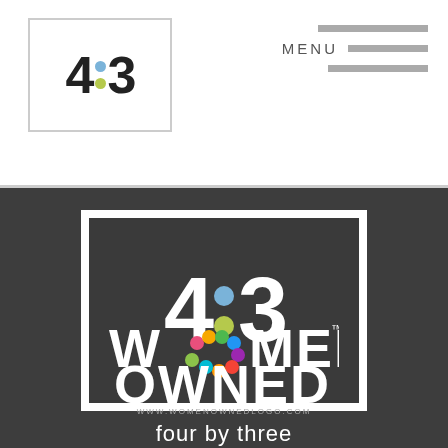[Figure (logo): 4:3 logo small with colored dots, inside a light bordered rectangle, top-left header area]
MENU
[Figure (logo): 4:3 four by three design + development large logo on dark background with white border frame]
[Figure (logo): Women Owned logo with colorful flower inside the O, white bold text on dark background, www.womenownedlogo.com]